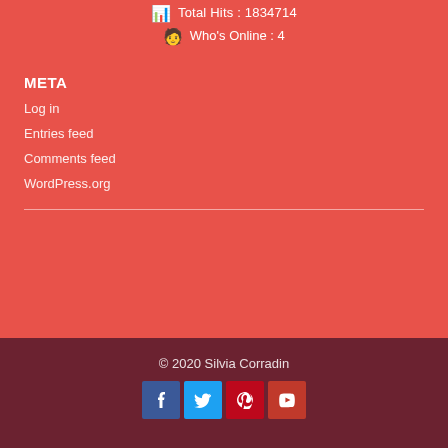Total Hits : 1834714
Who's Online : 4
META
Log in
Entries feed
Comments feed
WordPress.org
© 2020 Silvia Corradin